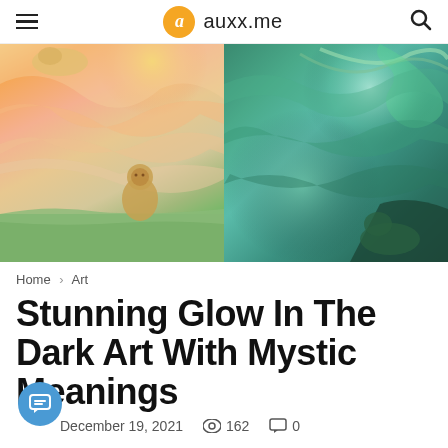auxx.me
[Figure (illustration): Two mystic artworks side by side: left shows a lioness in a colorful sunset sky with warm oranges and pinks; right shows a glowing green teal mystical scene with animals in the dark.]
Home > Art
Stunning Glow In The Dark Art With Mystic Meanings
December 19, 2021   162   0